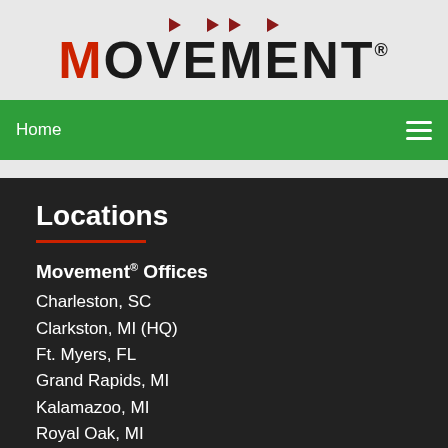[Figure (logo): Movement logo with red M and dark letters, small red arrow icons above]
Home
Locations
Movement® Offices
Charleston, SC
Clarkston, MI (HQ)
Ft. Myers, FL
Grand Rapids, MI
Kalamazoo, MI
Royal Oak, MI
Phoenix, AZ
Sarasota, FL